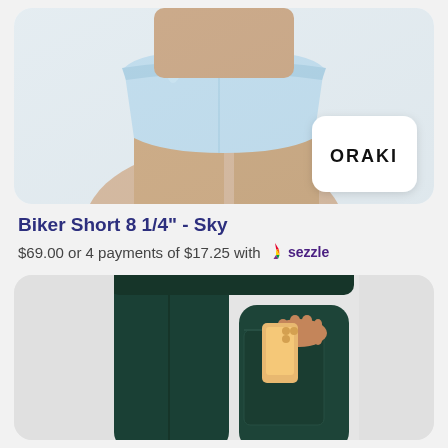[Figure (photo): Product photo of light blue biker shorts on a model, with ORAKI brand logo badge in the lower right corner of the image card]
Biker Short 8 1/4" - Sky
$69.00 or 4 payments of $17.25 with sezzle
[Figure (photo): Product photo of dark green leggings on a model, showing a phone being placed into a side pocket]